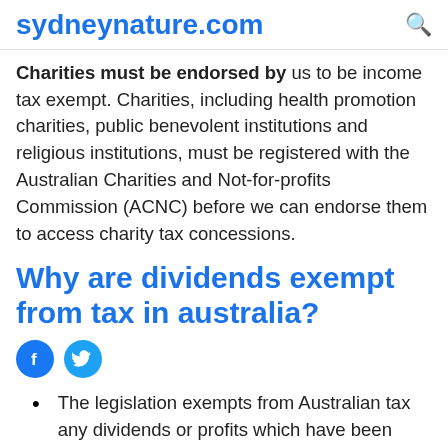sydneynature.com
Charities must be endorsed by us to be income tax exempt. Charities, including health promotion charities, public benevolent institutions and religious institutions, must be registered with the Australian Charities and Not-for-profits Commission (ACNC) before we can endorse them to access charity tax concessions.
Why are dividends exempt from tax in australia?
[Figure (illustration): Facebook and Twitter social media share icons — blue circles with f and bird logo]
The legislation exempts from Australian tax any dividends or profits which have been taxed at